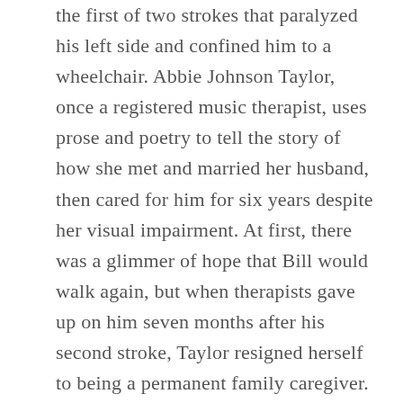the first of two strokes that paralyzed his left side and confined him to a wheelchair. Abbie Johnson Taylor, once a registered music therapist, uses prose and poetry to tell the story of how she met and married her husband, then cared for him for six years despite her visual impairment. At first, there was a glimmer of hope that Bill would walk again, but when therapists gave up on him seven months after his second stroke, Taylor resigned herself to being a permanent family caregiver.

She discusses learning to dress him and transfer him from one place to another, sitting up with him at night when he couldn't urinate or move his bowels, and dealing with doctors and bureaucrats to obtain necessary equipment and services. There were happy times like when she played the piano or guitar and